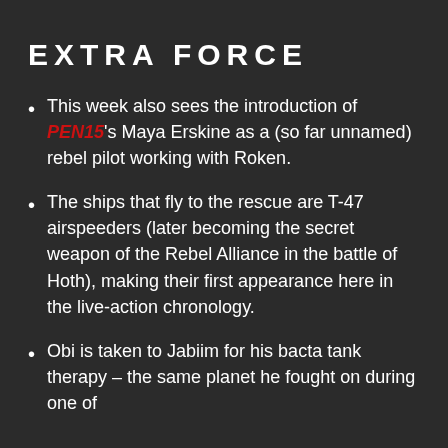EXTRA FORCE
This week also sees the introduction of PEN15's Maya Erskine as a (so far unnamed) rebel pilot working with Roken.
The ships that fly to the rescue are T-47 airspeeders (later becoming the secret weapon of the Rebel Alliance in the battle of Hoth), making their first appearance here in the live-action chronology.
Obi is taken to Jabiim for his bacta tank therapy – the same planet he fought on during one of